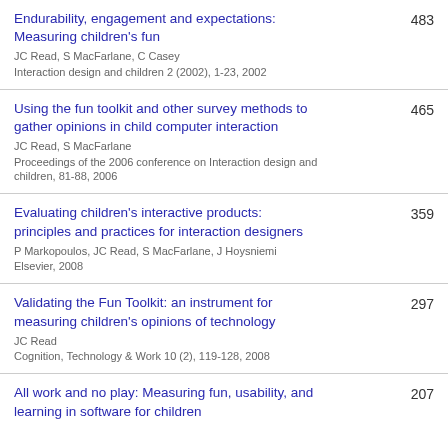Endurability, engagement and expectations: Measuring children's fun | JC Read, S MacFarlane, C Casey | Interaction design and children 2 (2002), 1-23, 2002 | 483
Using the fun toolkit and other survey methods to gather opinions in child computer interaction | JC Read, S MacFarlane | Proceedings of the 2006 conference on Interaction design and children, 81-88, 2006 | 465
Evaluating children's interactive products: principles and practices for interaction designers | P Markopoulos, JC Read, S MacFarlane, J Hoysniemi | Elsevier, 2008 | 359
Validating the Fun Toolkit: an instrument for measuring children's opinions of technology | JC Read | Cognition, Technology & Work 10 (2), 119-128, 2008 | 297
All work and no play: Measuring fun, usability, and learning in software for children | 207